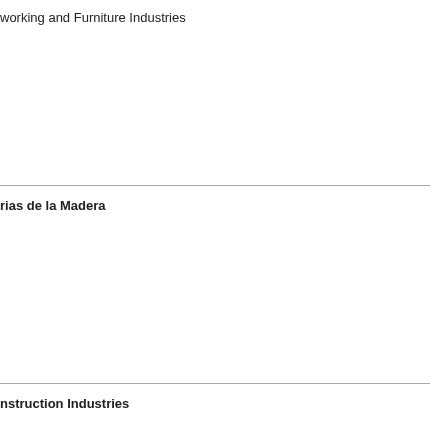working and Furniture Industries
rias de la Madera
nstruction Industries